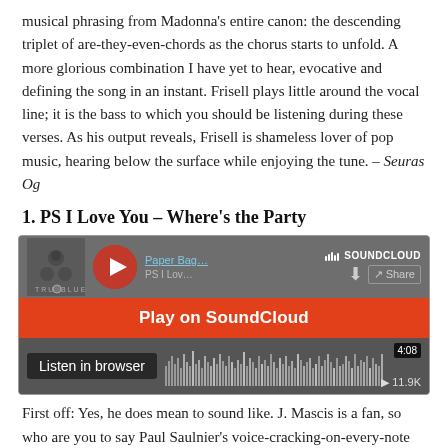musical phrasing from Madonna’s entire canon: the descending triplet of are-they-even-chords as the chorus starts to unfold. A more glorious combination I have yet to hear, evocative and defining the song in an instant. Frisell plays little around the vocal line; it is the bass to which you should be listening during these verses. As his output reveals, Frisell is shameless lover of pop music, hearing below the surface while enjoying the tune. – Seuras Og
1. PS I Love You – Where’s the Party
[Figure (screenshot): SoundCloud embedded player for 'PS I Love You' by Paper Bag, showing play button, waveform, 'Play on SoundCloud' orange banner, 'Listen in browser' option, duration 4:08, 11.9K plays, True Blue album art.]
First off: Yes, he does mean to sound like. J. Mascis is a fan, so who are you to say Paul Saulnier’s voice-cracking-on-every-note style hurts your ears? Once you get used to it – and you will – you might find that frantic